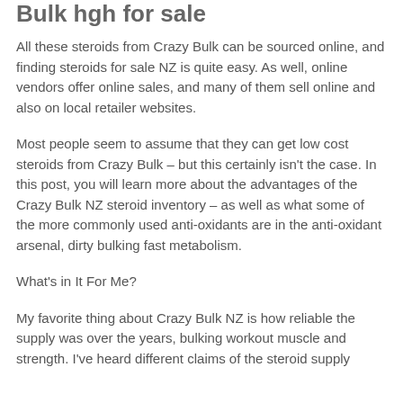Bulk hgh for sale
All these steroids from Crazy Bulk can be sourced online, and finding steroids for sale NZ is quite easy. As well, online vendors offer online sales, and many of them sell online and also on local retailer websites.
Most people seem to assume that they can get low cost steroids from Crazy Bulk – but this certainly isn't the case. In this post, you will learn more about the advantages of the Crazy Bulk NZ steroid inventory – as well as what some of the more commonly used anti-oxidants are in the anti-oxidant arsenal, dirty bulking fast metabolism.
What's in It For Me?
My favorite thing about Crazy Bulk NZ is how reliable the supply was over the years, bulking workout muscle and strength. I've heard different claims of the steroid supply